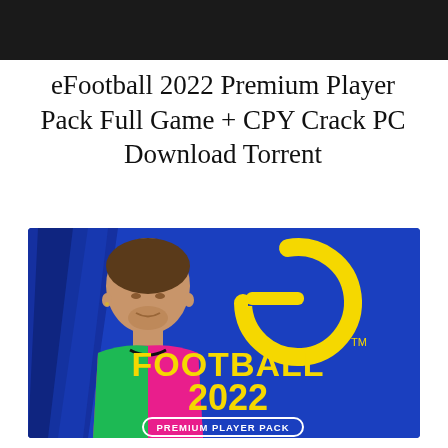[Figure (photo): Dark header bar at top of page, partial image visible]
eFootball 2022 Premium Player Pack Full Game + CPY Crack PC Download Torrent
[Figure (photo): eFootball 2022 Premium Player Pack game banner showing Lionel Messi on left side and eFootball 2022 logo with yellow 'e' symbol and 'FOOTBALL 2022' text on blue background, with 'PREMIUM PLAYER PACK' badge at bottom right]